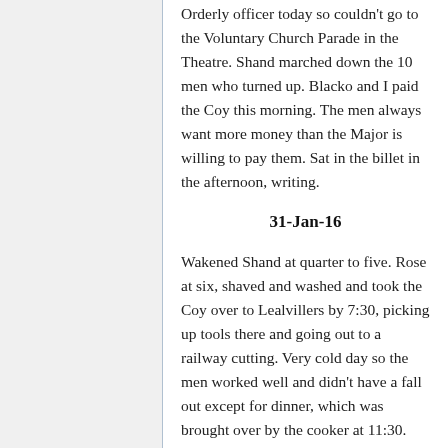Orderly officer today so couldn't go to the Voluntary Church Parade in the Theatre. Shand marched down the 10 men who turned up. Blacko and I paid the Coy this morning. The men always want more money than the Major is willing to pay them. Sat in the billet in the afternoon, writing.
31-Jan-16
Wakened Shand at quarter to five. Rose at six, shaved and washed and took the Coy over to Lealvillers by 7:30, picking up tools there and going out to a railway cutting. Very cold day so the men worked well and didn't have a fall out except for dinner, which was brought over by the cooker at 11:30. Very clean work as the soil is a sandy clay. The most difficult part is the levelling off as it